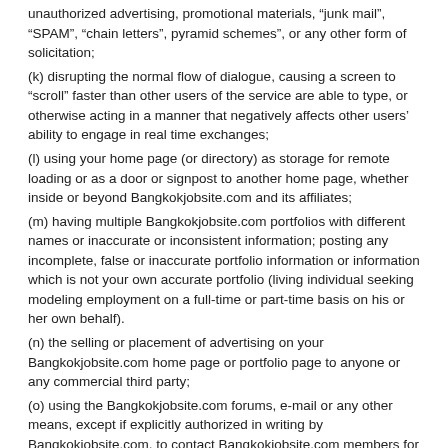unauthorized advertising, promotional materials, “junk mail”, “SPAM”, “chain letters”, pyramid schemes”, or any other form of solicitation;
(k) disrupting the normal flow of dialogue, causing a screen to “scroll” faster than other users of the service are able to type, or otherwise acting in a manner that negatively affects other users’ ability to engage in real time exchanges;
(l) using your home page (or directory) as storage for remote loading or as a door or signpost to another home page, whether inside or beyond Bangkokjobsite.com and its affiliates;
(m) having multiple Bangkokjobsite.com portfolios with different names or inaccurate or inconsistent information; posting any incomplete, false or inaccurate portfolio information or information which is not your own accurate portfolio (living individual seeking modeling employment on a full-time or part-time basis on his or her own behalf).
(n) the selling or placement of advertising on your Bangkokjobsite.com home page or portfolio page to anyone or any commercial third party;
(o) using the Bangkokjobsite.com forums, e-mail or any other means, except if explicitly authorized in writing by Bangkokjobsite.com, to contact Bangkokjobsite.com members for talent placement services, model scouting or booking or any other form of recruitment, agent services or job placement offer; offering any franchise, pyramid scheme, “club membership”, distributorship or sales representative agency